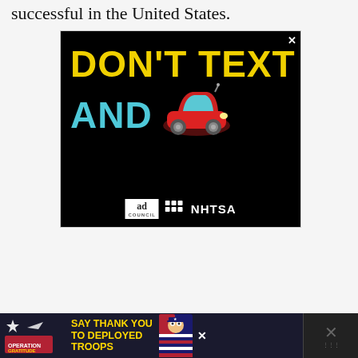successful in the United States.
[Figure (illustration): NHTSA 'Don't Text and Drive' public service advertisement. Black background with bold yellow text 'DON'T TEXT' on top and bold cyan/teal text 'AND' with a red cartoon car on the bottom. Ad Council and NHTSA logos at the bottom center.]
[Figure (illustration): Operation Gratitude banner ad: 'Say Thank You to Deployed Troops' with American flag imagery and a cartoon soldier character.]